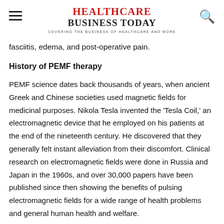Healthcare Business Today — Covering the business of healthcare and more
fasciitis, edema, and post-operative pain.
History of PEMF therapy
PEMF science dates back thousands of years, when ancient Greek and Chinese societies used magnetic fields for medicinal purposes. Nikola Tesla invented the 'Tesla Coil,' an electromagnetic device that he employed on his patients at the end of the nineteenth century. He discovered that they generally felt instant alleviation from their discomfort. Clinical research on electromagnetic fields were done in Russia and Japan in the 1960s, and over 30,000 papers have been published since then showing the benefits of pulsing electromagnetic fields for a wide range of health problems and general human health and welfare.